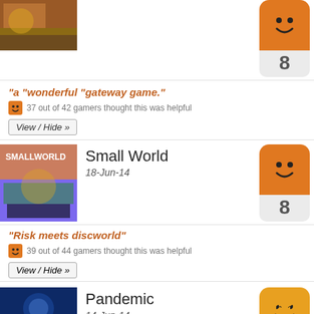[Figure (photo): Board game cover image (partially visible at top)]
[Figure (illustration): Orange smiley face rating icon with number 8]
"a "wonderful "gateway game."
37 out of 42 gamers thought this was helpful
View / Hide »
Small World
18-Jun-14
[Figure (illustration): Orange smiley face rating icon with number 8]
"Risk meets discworld"
39 out of 44 gamers thought this was helpful
View / Hide »
Pandemic
14-Jun-14
[Figure (illustration): Orange/yellow happy smiley face rating icon with number 9]